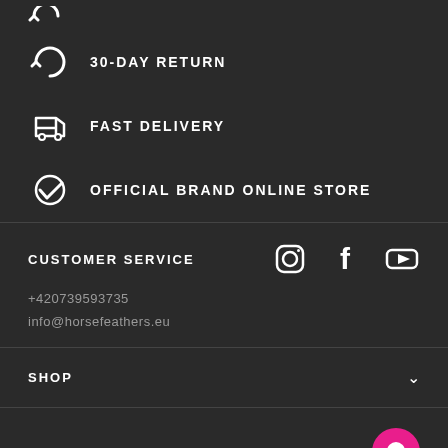30-DAY RETURN
FAST DELIVERY
OFFICIAL BRAND ONLINE STORE
CUSTOMER SERVICE
+420739593735
info@horsefeathers.eu
SHOP
HORSEFEATHERS